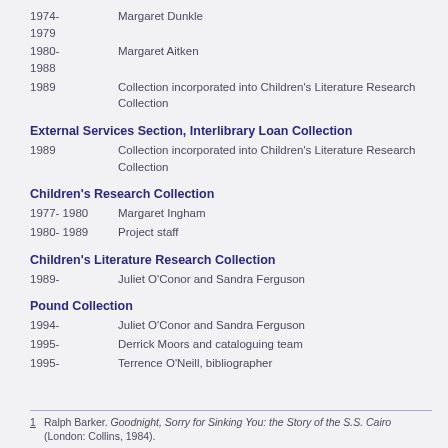1974-1979  Margaret Dunkle
1980-1988  Margaret Aitken
1989  Collection incorporated into Children's Literature Research Collection
External Services Section, Interlibrary Loan Collection
1989  Collection incorporated into Children's Literature Research Collection
Children's Research Collection
1977-1980  Margaret Ingham
1980-1989  Project staff
Children's Literature Research Collection
1989-  Juliet O'Conor and Sandra Ferguson
Pound Collection
1994-  Juliet O'Conor and Sandra Ferguson
1995-  Derrick Moors and cataloguing team
1995-  Terrence O'Neill, bibliographer
1  Ralph Barker. Goodnight, Sorry for Sinking You: the Story of the S.S. Cairo (London: Collins, 1984).